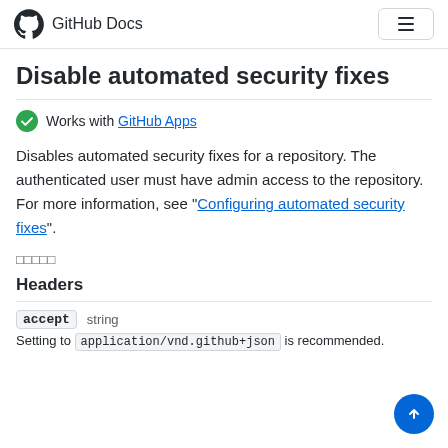GitHub Docs
Disable automated security fixes
Works with GitHub Apps
Disables automated security fixes for a repository. The authenticated user must have admin access to the repository. For more information, see "Configuring automated security fixes".
□□□□□
Headers
accept  string
Setting to application/vnd.github+json is recommended.